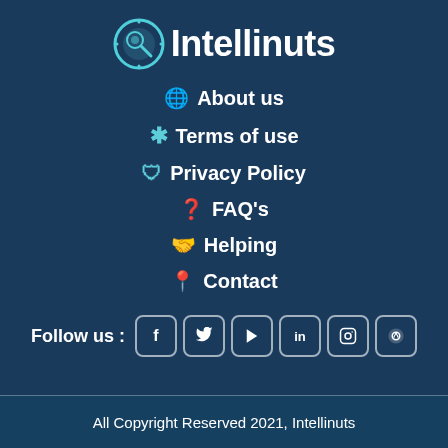[Figure (logo): Intellinuts logo with circular brain/magnifier icon and the text 'Intellinuts' in white bold font]
About us
Terms of use
Privacy Policy
FAQ's
Helping
Contact
Follow us :
All Copyright Reserved 2021, Intellinuts